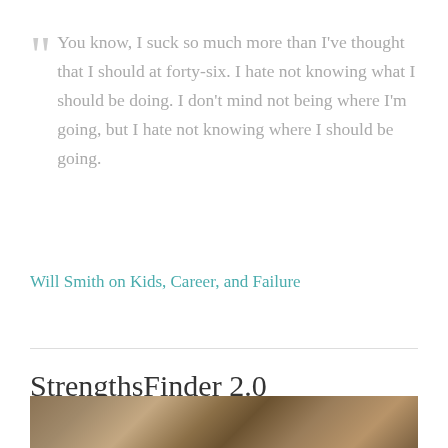You know, I suck so much more than I've thought that I should at forty-six. I hate not knowing what I should be doing. I don't mind not being where I'm going, but I hate not knowing where I should be going.
Will Smith on Kids, Career, and Failure
StrengthsFinder 2.0
2015-02-08
[Figure (photo): Partial photo of a wooden surface visible at the bottom of the page]